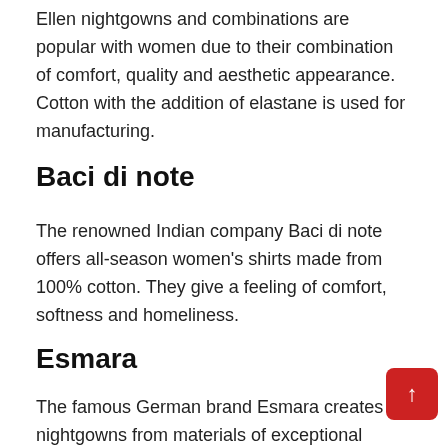Ellen nightgowns and combinations are popular with women due to their combination of comfort, quality and aesthetic appearance. Cotton with the addition of elastane is used for manufacturing.
Baci di note
The renowned Indian company Baci di note offers all-season women's shirts made from 100% cotton. They give a feeling of comfort, softness and homeliness.
Esmara
The famous German brand Esmara creates nightgowns from materials of exceptional quality.Natural environmentally friendly fabrics prevail, as well as combined materials and a minimum content of synthetic fibers. Among the styles – both